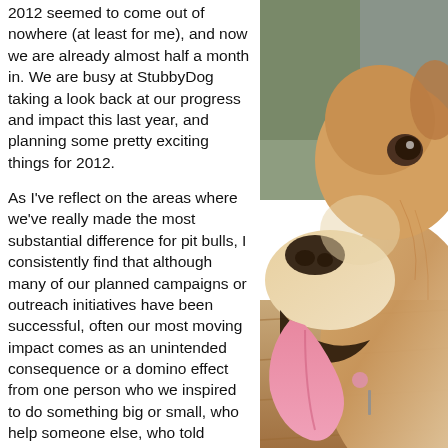2012 seemed to come out of nowhere (at least for me), and now we are already almost half a month in. We are busy at StubbyDog taking a look back at our progress and impact this last year, and planning some pretty exciting things for 2012.

As I've reflect on the areas where we've really made the most substantial difference for pit bulls, I consistently find that although many of our planned campaigns or outreach initiatives have been successful, often our most moving impact comes as an unintended consequence or a domino effect from one person who we inspired to do something big or small, who help someone else, who told someone else and so on.

This perhaps is most exciting. It is
[Figure (photo): Close-up photograph of a light tan/cream colored pit bull dog with mouth open, tongue out, looking upward. The dog has a pink collar tag visible. Background shows a wooden deck/floor and blurred greenery.]